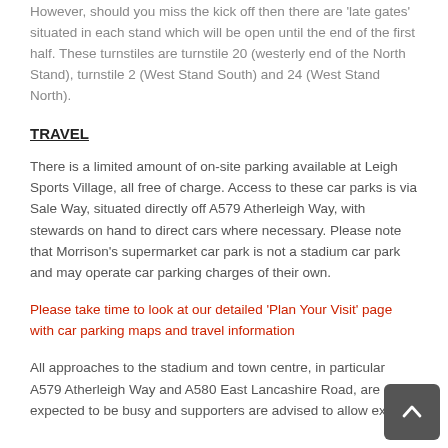However, should you miss the kick off then there are 'late gates' situated in each stand which will be open until the end of the first half. These turnstiles are turnstile 20 (westerly end of the North Stand), turnstile 2 (West Stand South) and 24 (West Stand North).
TRAVEL
There is a limited amount of on-site parking available at Leigh Sports Village, all free of charge. Access to these car parks is via Sale Way, situated directly off A579 Atherleigh Way, with stewards on hand to direct cars where necessary. Please note that Morrison's supermarket car park is not a stadium car park and may operate car parking charges of their own.
Please take time to look at our detailed 'Plan Your Visit' page with car parking maps and travel information
All approaches to the stadium and town centre, in particular A579 Atherleigh Way and A580 East Lancashire Road, are expected to be busy and supporters are advised to allow extra